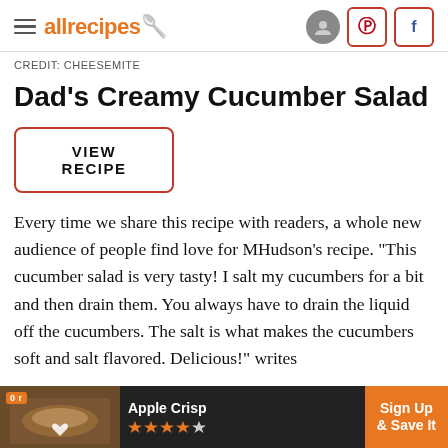allrecipes
CREDIT: CHEESEMITE
Dad's Creamy Cucumber Salad
VIEW RECIPE
Every time we share this recipe with readers, a whole new audience of people find love for MHudson's recipe. "This cucumber salad is very tasty! I salt my cucumbers for a bit and then drain them. You always have to drain the liquid off the cucumbers. The salt is what makes the cucumbers soft and salt flavored. Delicious!" writes
[Figure (screenshot): Advertisement bar at bottom: Apple Crisp recipe ad with orange Sign Up & Save It button]